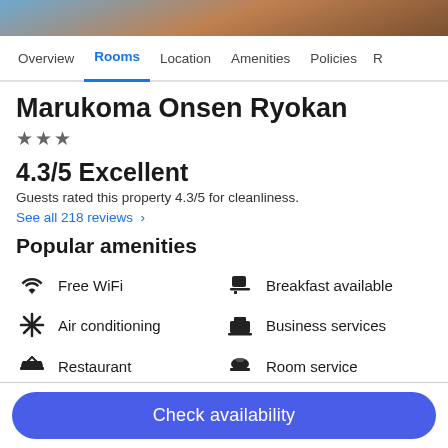[Figure (photo): Hotel exterior photo strip showing rocks and nature]
Overview | Rooms | Location | Amenities | Policies | R
Marukoma Onsen Ryokan
★★★
4.3/5 Excellent
Guests rated this property 4.3/5 for cleanliness.
See all 218 reviews >
Popular amenities
Free WiFi
Breakfast available
Air conditioning
Business services
Restaurant
Room service
Check availability